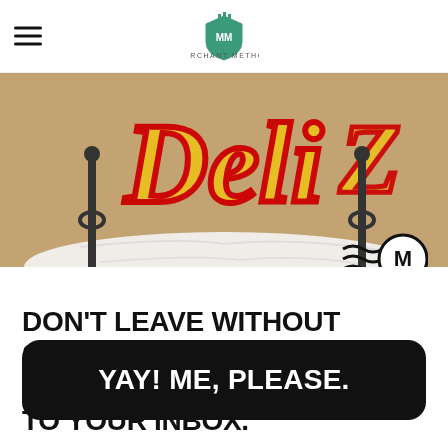Merchant Method
[Figure (photo): Decorative lettering sign with yellow and red text on a brown background, partially covered by white fabric, with a Merchant Method stamp/logo overlaid in the bottom right]
DON'T LEAVE WITHOUT SIGNING UP FOR FREE DIGITAL SWAG SENT RIGHT TO YOUR INBOX.
YAY! ME, PLEASE.